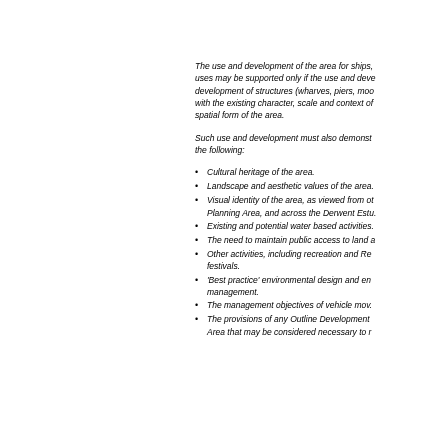The use and development of the area for ships, uses may be supported only if the use and development of structures (wharves, piers, moo... with the existing character, scale and context of spatial form of the area.
Such use and development must also demonstrate the following:
Cultural heritage of the area.
Landscape and aesthetic values of the area.
Visual identity of the area, as viewed from ot... Planning Area, and across the Derwent Estu...
Existing and potential water based activities.
The need to maintain public access to land a...
Other activities, including recreation and Re... festivals.
'Best practice' environmental design and en... management.
The management objectives of vehicle mov...
The provisions of any Outline Development Area that may be considered necessary to r...